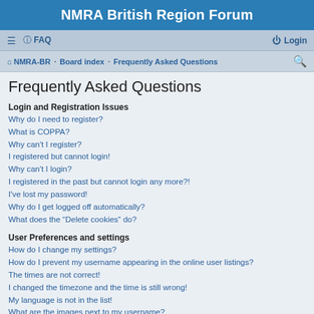NMRA British Region Forum
≡  FAQ    Login
⌂ NMRA-BR · Board index · Frequently Asked Questions
Frequently Asked Questions
Login and Registration Issues
Why do I need to register?
What is COPPA?
Why can't I register?
I registered but cannot login!
Why can't I login?
I registered in the past but cannot login any more?!
I've lost my password!
Why do I get logged off automatically?
What does the "Delete cookies" do?
User Preferences and settings
How do I change my settings?
How do I prevent my username appearing in the online user listings?
The times are not correct!
I changed the timezone and the time is still wrong!
My language is not in the list!
What are the images next to my username?